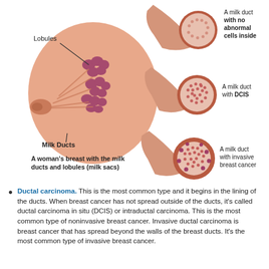[Figure (illustration): Medical illustration showing a woman's breast with milk ducts and lobules (milk sacs) on the left, and three cross-sections of milk ducts on the right: one with no abnormal cells inside, one with DCIS, and one with invasive breast cancer. Labels include 'Lobules', 'Milk Ducts', and caption 'A woman's breast with the milk ducts and lobules (milk sacs)'.]
Ductal carcinoma. This is the most common type and it begins in the lining of the ducts. When breast cancer has not spread outside of the ducts, it's called ductal carcinoma in situ (DCIS) or intraductal carcinoma. This is the most common type of noninvasive breast cancer. Invasive ductal carcinoma is breast cancer that has spread beyond the walls of the breast ducts. It's the most common type of invasive breast cancer.